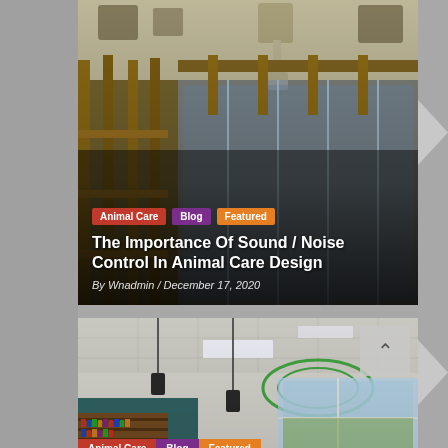[Figure (photo): Interior construction photo showing wooden framing, HVAC ducts, and glass partitions in what appears to be an animal care facility under construction]
Animal Care
Blog
Featured
The Importance Of Sound / Noise Control In Animal Care Design
By Wnadmin / December 17, 2020
[Figure (photo): Interior photo of what appears to be a modern animal shelter or veterinary facility with drop ceiling, pendant lights, green circular ceiling art, large windows, and bookshelves]